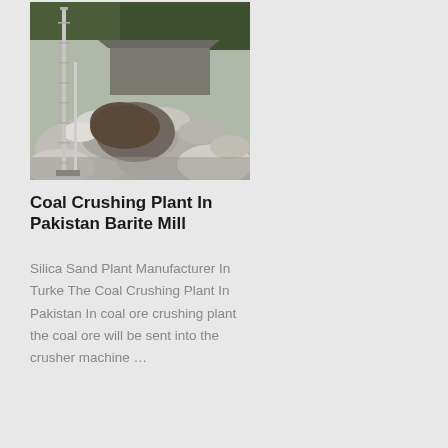[Figure (photo): Outdoor industrial coal crushing plant facility in Pakistan showing large piles of rock and gravel material with a industrial structure and shed in the background, and a vertical measuring pole in the foreground.]
Coal Crushing Plant In Pakistan Barite Mill
Silica Sand Plant Manufacturer In Turke The Coal Crushing Plant In Pakistan In coal ore crushing plant the coal ore will be sent into the crusher machine …